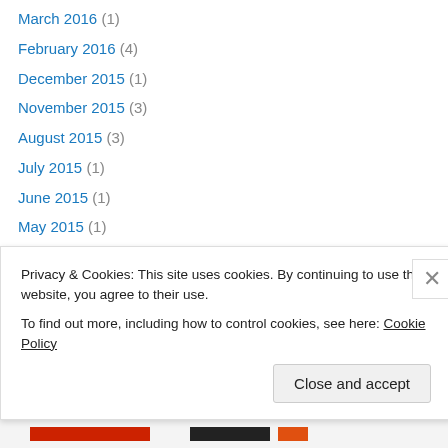March 2016 (1)
February 2016 (4)
December 2015 (1)
November 2015 (3)
August 2015 (3)
July 2015 (1)
June 2015 (1)
May 2015 (1)
April 2015 (1)
March 2015 (1)
February 2015 (4)
January 2015 (2)
December 2014 (1)
Privacy & Cookies: This site uses cookies. By continuing to use this website, you agree to their use. To find out more, including how to control cookies, see here: Cookie Policy